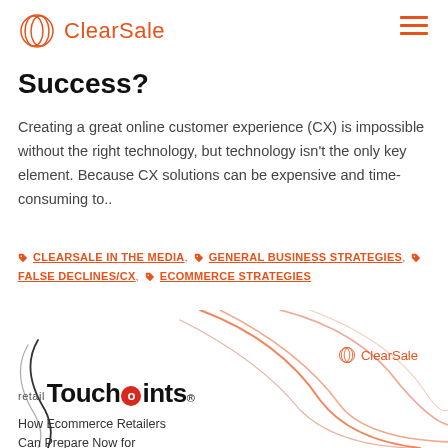ClearSale
Success?
Creating a great online customer experience (CX) is impossible without the right technology, but technology isn't the only key element. Because CX solutions can be expensive and time-consuming to..
CLEARSALE IN THE MEDIA, GENERAL BUSINESS STRATEGIES, FALSE DECLINES/CX, ECOMMERCE STRATEGIES
[Figure (illustration): Decorative curved lines in orange/red tones forming abstract swirl shapes on the bottom half of the page. ClearSale logo appears in the upper right of this section. Retail TouchPoints logo and text appears on the left side.]